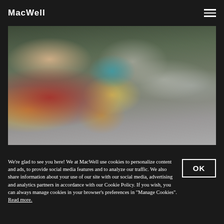MacWell
[Figure (photo): Children playing in what appears to be a colorful classroom or museum space; one child in a red top plays with blocks on the left, and a person in a striped jacket holds a toddler in the center; colorful posters/artwork visible on the wall in the background.]
We're glad to see you here! We at MacWell use cookies to personalize content and ads, to provide social media features and to analyze our traffic. We also share information about your use of our site with our social media, advertising and analytics partners in accordance with our Cookie Policy. If you wish, you can always manage cookies in your browser's preferences in "Manage Cookies". Read more.